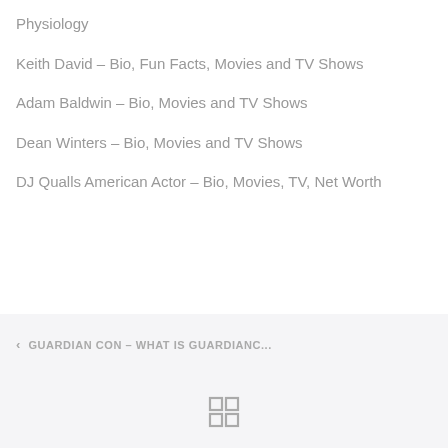Physiology
Keith David – Bio, Fun Facts, Movies and TV Shows
Adam Baldwin – Bio, Movies and TV Shows
Dean Winters – Bio, Movies and TV Shows
DJ Qualls American Actor – Bio, Movies, TV, Net Worth
< GUARDIAN CON – WHAT IS GUARDIANC...